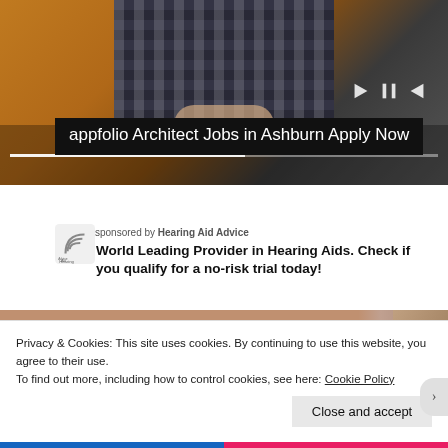[Figure (photo): Person with arms crossed wearing a plaid/checkered shirt, shown from torso down, with media player controls overlaid on the image and a progress bar at the bottom]
appfolio Architect Jobs in Ashburn Apply Now
sponsored by Hearing Aid Advice
World Leading Provider in Hearing Aids. Check if you qualify for a no-risk trial today!
[Figure (photo): Partial view of a photo strip at the bottom of the ad section]
Privacy & Cookies: This site uses cookies. By continuing to use this website, you agree to their use.
To find out more, including how to control cookies, see here: Cookie Policy
Close and accept